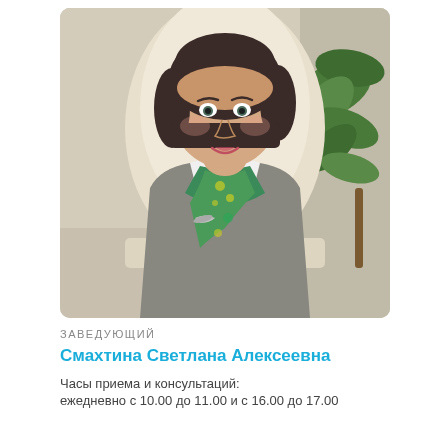[Figure (photo): Portrait photo of a middle-aged woman with dark short hair, wearing a grey vest over white blouse with a green and yellow patterned scarf, seated in a white office chair, with a green plant visible in the background]
ЗАВЕДУЮЩИЙ
Смахтина Светлана Алексеевна
Часы приема и консультаций:
ежедневно с 10.00 до 11.00 и с 16.00 до 17.00